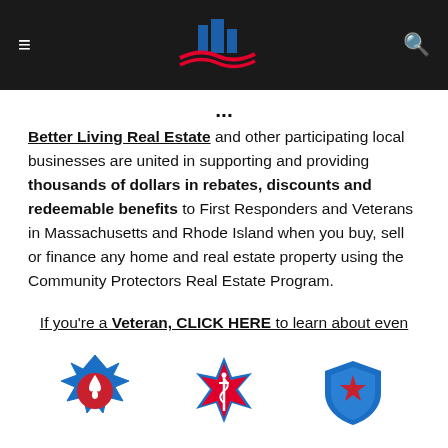Navigation bar with hamburger menu, logo, and search icon
...
Better Living Real Estate and other participating local businesses are united in supporting and providing thousands of dollars in rebates, discounts and redeemable benefits to First Responders and Veterans in Massachusetts and Rhode Island when you buy, sell or finance any home and real estate property using the Community Protectors Real Estate Program.

If you're a Veteran, CLICK HERE to learn about even more benefits that we provide you through the VA Home Loan Program.
[Figure (illustration): Three first responder icons: firefighter Maltese cross badge with flame, EMS star of life, and police shield badge with star]